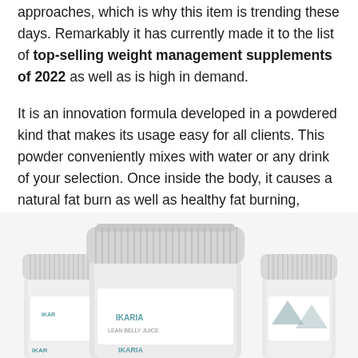approaches, which is why this item is trending these days. Remarkably it has currently made it to the list of top-selling weight management supplements of 2022 as well as is high in demand.
It is an innovation formula developed in a powdered kind that makes its usage easy for all clients. This powder conveniently mixes with water or any drink of your selection. Once inside the body, it causes a natural fat burn as well as healthy fat burning, whatever is the weight of an individual.
[Figure (photo): Product photo showing multiple white supplement powder containers labeled IKARIA with ridged white caps, partially cropped at bottom of page]